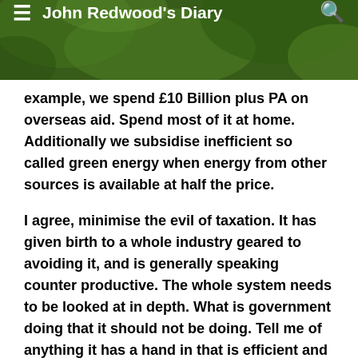John Redwood's Diary
example, we spend £10 Billion plus PA on overseas aid. Spend most of it at home. Additionally we subsidise inefficient so called green energy when energy from other sources is available at half the price.
I agree, minimise the evil of taxation. It has given birth to a whole industry geared to avoiding it, and is generally speaking counter productive. The whole system needs to be looked at in depth. What is government doing that it should not be doing. Tell me of anything it has a hand in that is efficient and productive. Government is genetically incompetent. Having decided what government can do, then tax at levels that do not destroy the source. For the next ten years our national commercial activity requires the maximum encouragement. No organisation contemplating it, should through levels of